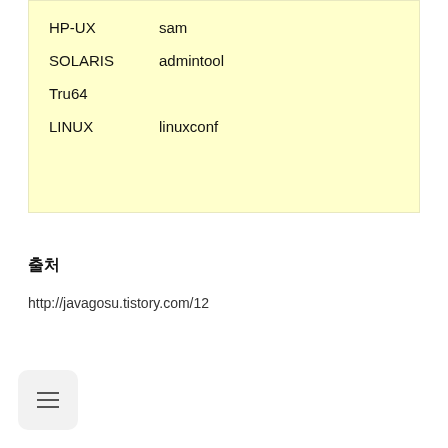| HP-UX | sam |
| SOLARIS | admintool |
| Tru64 |  |
| LINUX | linuxconf |
출처
http://javagosu.tistory.com/12